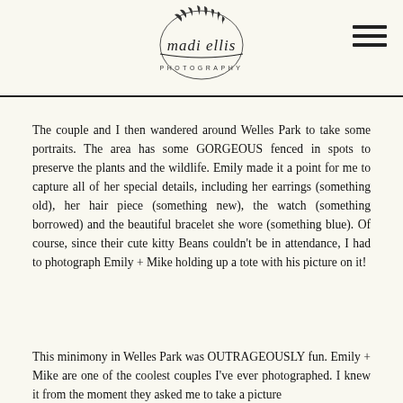madi ellis PHOTOGRAPHY
The couple and I then wandered around Welles Park to take some portraits. The area has some GORGEOUS fenced in spots to preserve the plants and the wildlife. Emily made it a point for me to capture all of her special details, including her earrings (something old), her hair piece (something new), the watch (something borrowed) and the beautiful bracelet she wore (something blue). Of course, since their cute kitty Beans couldn't be in attendance, I had to photograph Emily + Mike holding up a tote with his picture on it!
This minimony in Welles Park was OUTRAGEOUSLY fun. Emily + Mike are one of the coolest couples I've ever photographed. I knew it from the moment they asked me to take a picture...